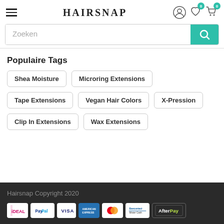HAIRSNAP
[Figure (screenshot): Search bar with placeholder text 'Zoeken' and teal search button with magnifying glass icon]
Populaire Tags
Shea Moisture
Microring Extensions
Tape Extensions
Vegan Hair Colors
X-Pression
Clip In Extensions
Wax Extensions
Hairsnap Copyright 2020
[Figure (logo): Payment method logos: iDEAL, PayPal, VISA, American Express, Mastercard, Bancontact Mister Cash, AfterPay]